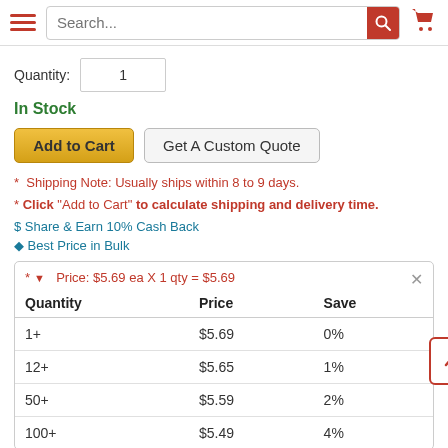Search... [search bar] [cart icon]
Quantity: 1
In Stock
Add to Cart | Get A Custom Quote
* Shipping Note: Usually ships within 8 to 9 days.
* Click "Add to Cart" to calculate shipping and delivery time.
$ Share & Earn 10% Cash Back
Best Price in Bulk
| Quantity | Price | Save |
| --- | --- | --- |
| 1+ | $5.69 | 0% |
| 12+ | $5.65 | 1% |
| 50+ | $5.59 | 2% |
| 100+ | $5.49 | 4% |